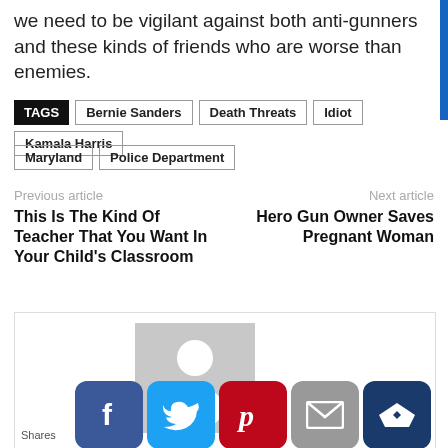we need to be vigilant against both anti-gunners and these kinds of friends who are worse than enemies.
TAGS: Bernie Sanders | Death Threats | Idiot | Kamala Harris | Maryland | Police Department
Previous article
This Is The Kind Of Teacher That You Want In Your Child's Classroom
Next article
Hero Gun Owner Saves Pregnant Woman
[Figure (infographic): Social sharing box with avatar placeholder and social media buttons: Facebook, Twitter, Pinterest, Email, Crown/other]
Shares